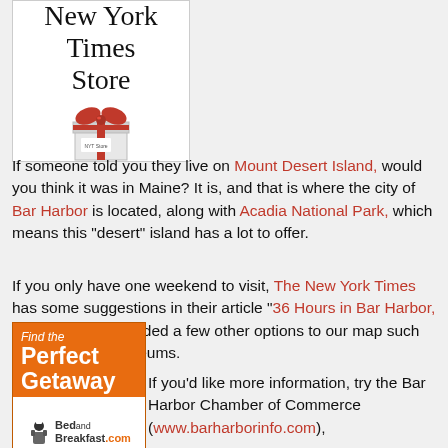[Figure (logo): New York Times Store advertisement with gift box graphic]
If someone told you they live on Mount Desert Island, would you think it was in Maine?  It is, and that is where the city of Bar Harbor is located, along with Acadia National Park, which means this "desert" island has a lot to offer.
If you only have one weekend to visit, The New York Times has some suggestions in their article "36 Hours in Bar Harbor, Me.", and we've added a few other options to our map such as B&B's and museums.
[Figure (illustration): BedandBreakfast.com 'Find the Perfect Getaway' advertisement with search button]
If you'd like more information, try the Bar Harbor Chamber of Commerce (www.barharborinfo.com),